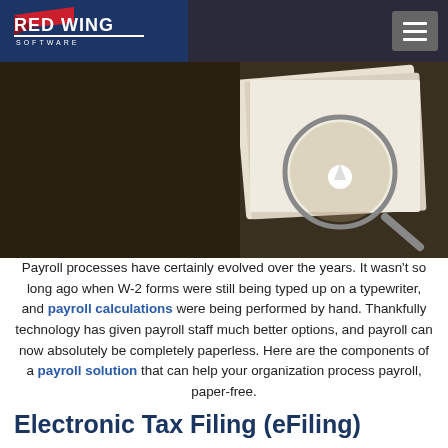[Figure (logo): Red Wing Software logo in dark blue header bar with hamburger menu button on right]
[Figure (photo): Photo of papers and a magnifying glass on a wooden surface, suggesting tax/payroll documents]
Payroll processes have certainly evolved over the years. It wasn't so long ago when W-2 forms were still being typed up on a typewriter, and payroll calculations were being performed by hand. Thankfully technology has given payroll staff much better options, and payroll can now absolutely be completely paperless. Here are the components of a payroll solution that can help your organization process payroll, paper-free.
Electronic Tax Filing (eFiling)
Electronic payroll tax filing has traditionally included the purchasing of forms such as W-2 and 1099. W-2 forms were then filled in, stuffed into an envelope, and mailed to employees. Other forms were also filled in, and sent to the appropriate agency. While many organizations do still purchase and fill in the forms, it is no longer a necessity. Tax filing can now be done electronically,